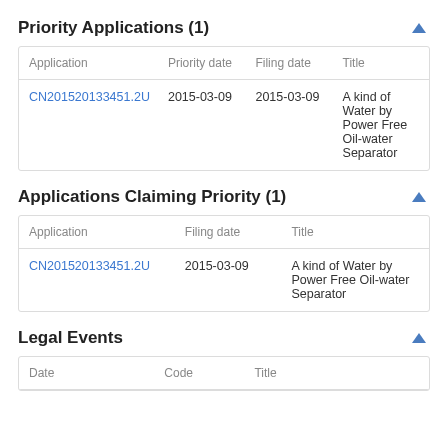Priority Applications (1)
| Application | Priority date | Filing date | Title |
| --- | --- | --- | --- |
| CN201520133451.2U | 2015-03-09 | 2015-03-09 | A kind of Water by Power Free Oil-water Separator |
Applications Claiming Priority (1)
| Application | Filing date | Title |
| --- | --- | --- |
| CN201520133451.2U | 2015-03-09 | A kind of Water by Power Free Oil-water Separator |
Legal Events
| Date | Code | Title |
| --- | --- | --- |